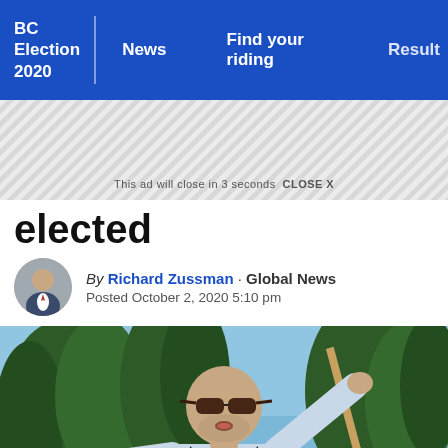BC Election 2020 | News | Find your riding | Results
This ad will close in 3 seconds  CLOSE X
elected
By Richard Zussman · Global News
Posted October 2, 2020 5:10 pm
[Figure (photo): Man in sunglasses and black vest with arms raised wide, outdoors with trees in background]